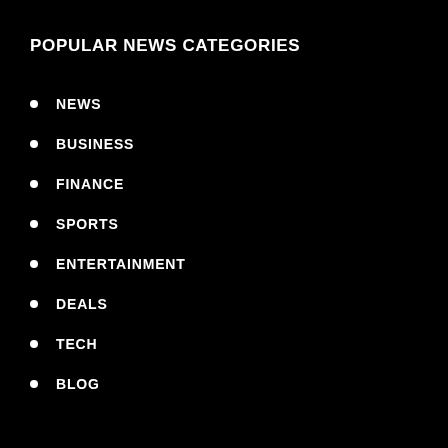POPULAR NEWS CATEGORIES
NEWS
BUSINESS
FINANCE
SPORTS
ENTERTAINMENT
DEALS
TECH
BLOG
POPULAR GUEST POST CATEGORIES
HEALTH
REAL ESTATE